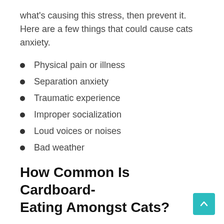what's causing this stress, then prevent it. Here are a few things that could cause cats anxiety.
Physical pain or illness
Separation anxiety
Traumatic experience
Improper socialization
Loud voices or noises
Bad weather
How Common Is Cardboard-Eating Amongst Cats?
If you're merely talking about chewing on